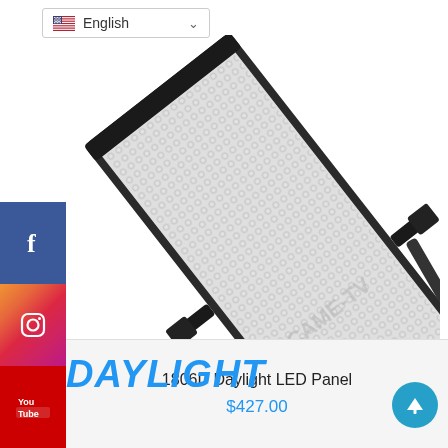[Figure (screenshot): E-commerce product page screenshot showing a 1806D Daylight LED Panel light, angled, with social media sidebar (Facebook, Instagram, YouTube, Twitter), language selector (English), DAYLIGHT branding text, product title and price.]
English
DAYLIGHT
1806D Daylight LED Panel
$427.00